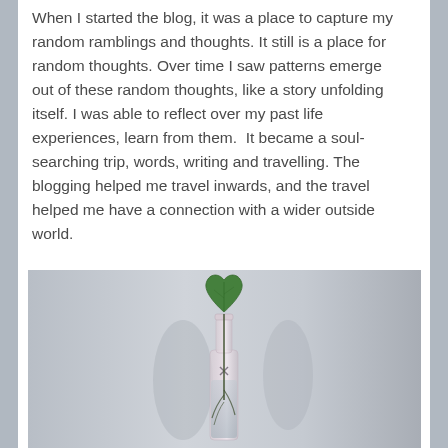When I started the blog, it was a place to capture my random ramblings and thoughts. It still is a place for random thoughts. Over time I saw patterns emerge out of these random thoughts, like a story unfolding itself. I was able to reflect over my past life experiences, learn from them.  It became a soul-searching trip, words, writing and travelling. The blogging helped me travel inwards, and the travel helped me have a connection with a wider outside world.
[Figure (photo): A heart-shaped green leaf growing from a stem in a clear glass bottle with water, photographed against a neutral grey background.]